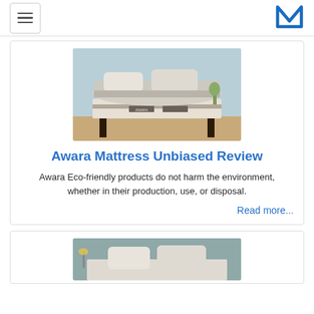[hamburger menu] [M logo]
[Figure (photo): Awara mattress on a dark wooden bed frame in a bedroom setting with gray bedding and pillows]
Awara Mattress Unbiased Review
Awara Eco-friendly products do not harm the environment, whether in their production, use, or disposal.
Read more...
[Figure (photo): Another mattress on a bed frame, partial view at bottom of page]